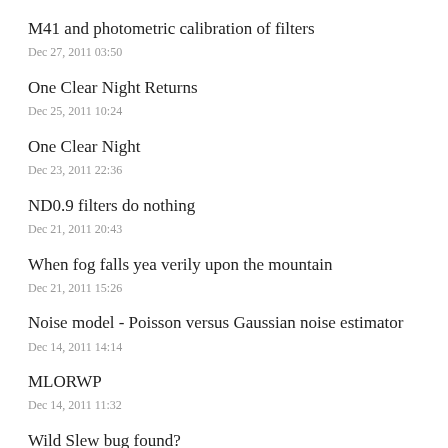M41 and photometric calibration of filters
Dec 27, 2011 03:50
One Clear Night Returns
Dec 25, 2011 10:24
One Clear Night
Dec 23, 2011 22:36
ND0.9 filters do nothing
Dec 21, 2011 20:43
When fog falls yea verily upon the mountain
Dec 21, 2011 15:26
Noise model - Poisson versus Gaussian noise estimator
Dec 14, 2011 14:14
MLORWP
Dec 14, 2011 11:32
Wild Slew bug found?
Dec 13, 2011 15:48
BBSO compared 4 ways